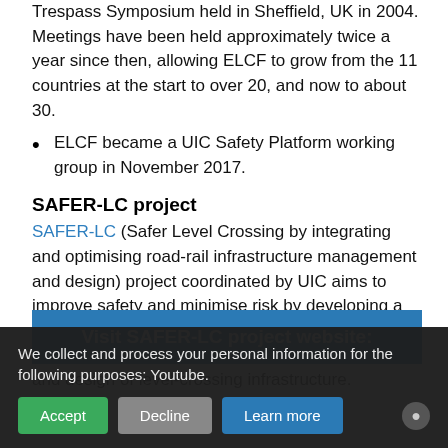Trespass Symposium held in Sheffield, UK in 2004. Meetings have been held approximately twice a year since then, allowing ELCF to grow from the 11 countries at the start to over 20, and now to about 30.
ELCF became a UIC Safety Platform working group in November 2017.
SAFER-LC project
SAFER-LC (Safer Level Crossing by integrating and optimising road-rail infrastructure management and design) project coordinated by UIC aims to improve safety and minimise risk by developing a fully integrated cross-modal set of innovative solutions and tools for the proactive management and design of level-crossing infrastructure.
Visit SAFER-LC project website:
We collect and process your personal information for the following purposes: Youtube.
Accept  Decline  Learn more